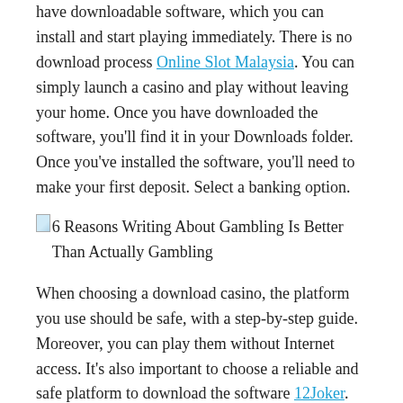have downloadable software, which you can install and start playing immediately. There is no download process Online Slot Malaysia. You can simply launch a casino and play without leaving your home. Once you have downloaded the software, you'll find it in your Downloads folder. Once you've installed the software, you'll need to make your first deposit. Select a banking option.
[Figure (other): Broken image icon with alt text: 6 Reasons Writing About Gambling Is Better Than Actually Gambling]
When choosing a download casino, the platform you use should be safe, with a step-by-step guide. Moreover, you can play them without Internet access. It's also important to choose a reliable and safe platform to download the software 12Joker. Some mobile devices allow you to download a variety of games, and most of them are free of